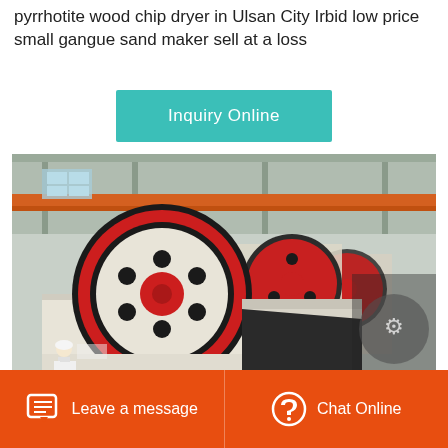pyrrhotite wood chip dryer in Ulsan City Irbid low price small gangue sand maker sell at a loss
Inquiry Online
[Figure (photo): Industrial jaw crushers with large red and black flywheels lined up in a factory/warehouse setting. A worker in a white hard hat is visible on the left side. The machines are white and black with red accents.]
Leave a message
Chat Online